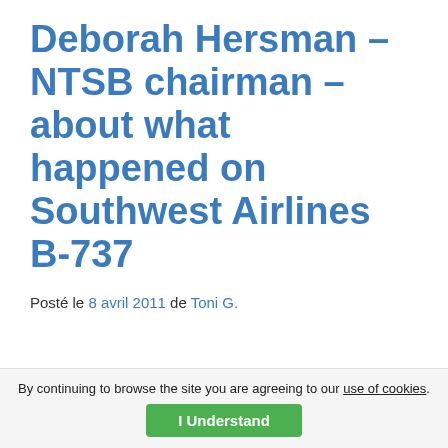Deborah Hersman – NTSB chairman – about what happened on Southwest Airlines B-737
Posté le 8 avril 2011 de Toni G.
By continuing to browse the site you are agreeing to our use of cookies. I Understand